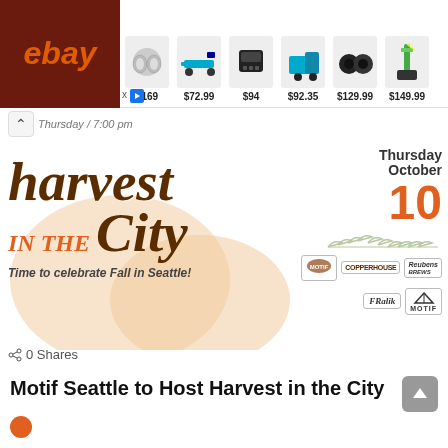[Figure (screenshot): eBay advertisement banner showing wireless earbuds ($169), power tool ($72.99), portable speaker ($94), drill set ($92.35), speakers ($129.99), vacuum ($149.99)]
Thursday, October / 7:00 pm
[Figure (infographic): Harvest in the City event flyer for Motif Seattle. Thursday October 10. Time to celebrate Fall in Seattle! Features sponsor logos including Copperhouse, Reubens Brews, Frelik, and Motif.]
0 Shares
Motif Seattle to Host Harvest in the City